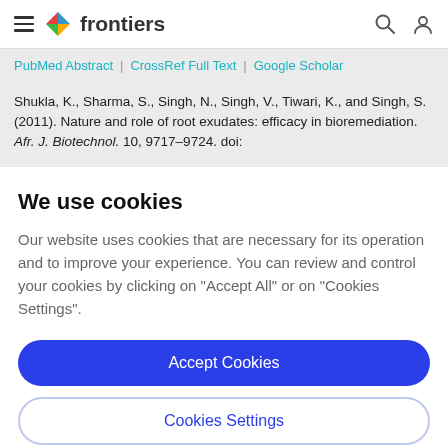frontiers
PubMed Abstract | CrossRef Full Text | Google Scholar
Shukla, K., Sharma, S., Singh, N., Singh, V., Tiwari, K., and Singh, S. (2011). Nature and role of root exudates: efficacy in bioremediation. Afr. J. Biotechnol. 10, 9717–9724. doi:
We use cookies
Our website uses cookies that are necessary for its operation and to improve your experience. You can review and control your cookies by clicking on "Accept All" or on "Cookies Settings".
Accept Cookies
Cookies Settings